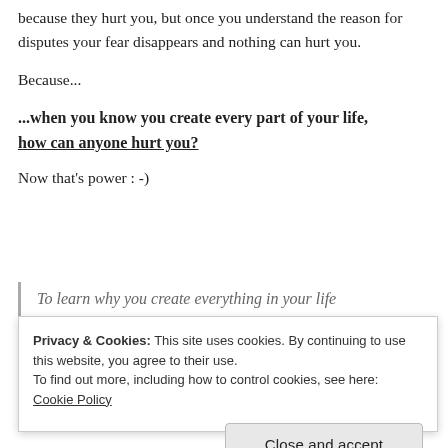because they hurt you, but once you understand the reason for disputes your fear disappears and nothing can hurt you.
Because...
...when you know you create every part of your life, how can anyone hurt you?
Now that's power : -)
To learn why you create everything in your life
Privacy & Cookies: This site uses cookies. By continuing to use this website, you agree to their use.
To find out more, including how to control cookies, see here:
Cookie Policy
Close and accept